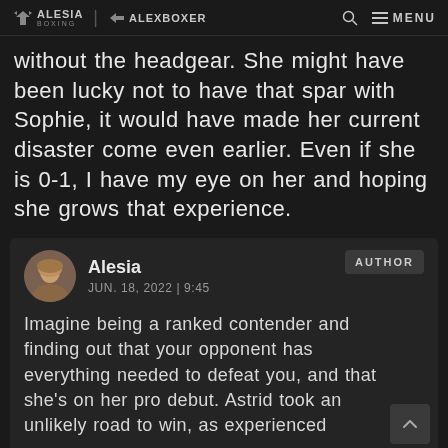ALESIA BOXING | ALEXBOXER — Search — MENU
without the headgear. She might have been lucky not to have that spar with Sophie, it would have made her current disaster come even earlier. Even if she is 0-1, I have my eye on her and hoping she grows that experience.
Alesia — JUN. 18, 2022 | 9:45 — AUTHOR
Imagine being a ranked contender and finding out that your opponent has everything needed to defeat you, and that she's on her pro debut. Astrid took an unlikely road to win, as experienced